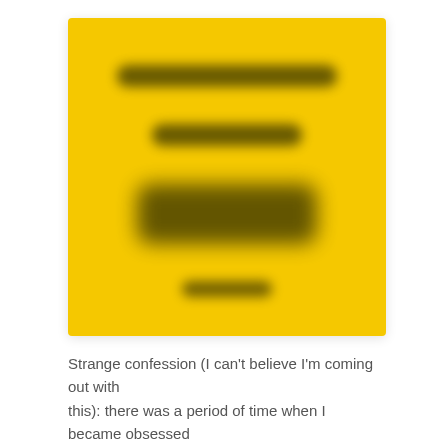[Figure (illustration): A bright yellow square card with blurred/redacted dark text arranged in three rows, resembling a social media post image or book cover with text obscured for privacy.]
Strange confession (I can't believe I'm coming out with this): there was a period of time when I became obsessed